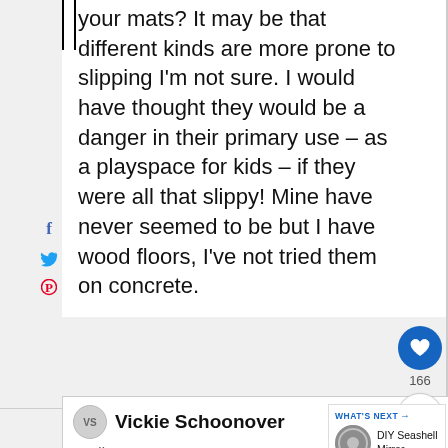your mats? It may be that different kinds are more prone to slipping I'm not sure. I would have thought they would be a danger in their primary use – as a playspace for kids – if they were all that slippy! Mine have never seemed to be but I have wood floors, I've not tried them on concrete.
Vickie Schoonover
April 16, 2020 at 09:02 PM
Thanks for the quick reply. I'll check